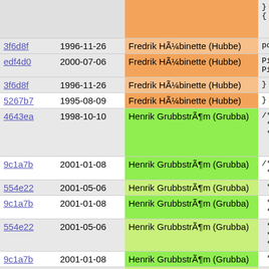| hash | date | author | code |
| --- | --- | --- | --- |
|  |  |  | }
{ |
| 3f6d8f | 1996-11-26 | Fredrik HÃ¼binette (Hubbe) | pop_n_ |
| edf4d0 | 2000-07-06 | Fredrik HÃ¼binette (Hubbe) | Pike_s
Pike_s |
| 3f6d8f | 1996-11-26 | Fredrik HÃ¼binette (Hubbe) | } |
| 5267b7 | 1995-08-09 | Fredrik HÃ¼binette (Hubbe) | } |
| 4643ea | 1998-10-10 | Henrik GrubbstrÃ¶m (Grubba) | /*
 * Some wi
 */ |
| 9c1a7b | 2001-01-08 | Henrik GrubbstrÃ¶m (Grubba) | /*! @decl
 *! |
| 554e22 | 2001-05-06 | Henrik GrubbstrÃ¶m (Grubba) | *!      Conv |
| 9c1a7b | 2001-01-08 | Henrik GrubbstrÃ¶m (Grubba) | *!
*! @note |
| 554e22 | 2001-05-06 | Henrik GrubbstrÃ¶m (Grubba) | *!      Thro
*!      enco
*!      exce |
| 9c1a7b | 2001-01-08 | Henrik GrubbstrÃ¶m (Grubba) | *! |
| 554e22 | 2001-05-06 | Henrik GrubbstrÃ¶m (Grubba) | *!      Char |
| 9c1a7b | 2001-01-08 | Henrik GrubbstrÃ¶m (Grubba) | *! |